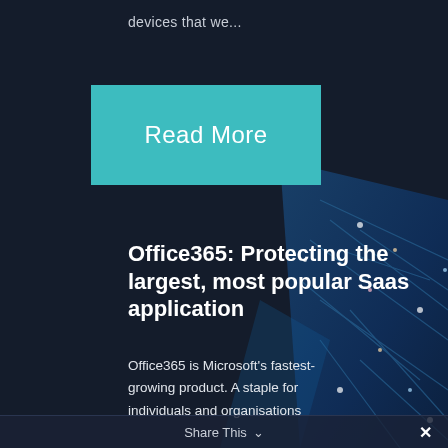devices that we...
Read More
Office365: Protecting the largest, most popular Saas application
Office365 is Microsoft's fastest-growing product. A staple for individuals and organisations alike, the SaaS offering has
Share This ✓ ✕